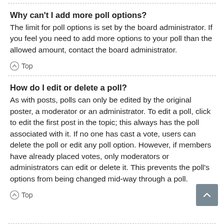Why can't I add more poll options?
The limit for poll options is set by the board administrator. If you feel you need to add more options to your poll than the allowed amount, contact the board administrator.
Top
How do I edit or delete a poll?
As with posts, polls can only be edited by the original poster, a moderator or an administrator. To edit a poll, click to edit the first post in the topic; this always has the poll associated with it. If no one has cast a vote, users can delete the poll or edit any poll option. However, if members have already placed votes, only moderators or administrators can edit or delete it. This prevents the poll's options from being changed mid-way through a poll.
Top